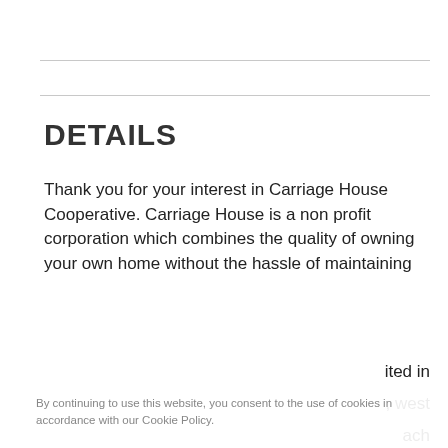DETAILS
Thank you for your interest in Carriage House Cooperative. Carriage House is a non profit corporation which combines the quality of owning your own home without the hassle of maintaining
By continuing to use this website, you consent to the use of cookies in accordance with our Cookie Policy.
[Figure (other): Blue button element (cookie consent button)]